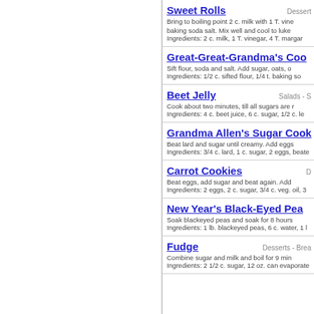Sweet Rolls | Dessert | Bring to boiling point 2 c. milk with 1 T. vine... baking soda salt. Mix well and cool to luke... | Ingredients: 2 c. milk, 1 T. vinegar, 4 T. margar...
Great-Great-Grandma's Coo... | Sift flour, soda and salt. Add sugar, oats, o... | Ingredients: 1/2 c. sifted flour, 1/4 t. baking so...
Beet Jelly | Salads - S... | Cook about two minutes, till all sugars are... | Ingredients: 4 c. beet juice, 6 c. sugar, 1/2 c. le...
Grandma Allen's Sugar Cook... | Beat lard and sugar until creamy. Add eggs... | Ingredients: 3/4 c. lard, 1 c. sugar, 2 eggs, beate...
Carrot Cookies | D... | Beat eggs, add sugar and beat again. Add... | Ingredients: 2 eggs, 2 c. sugar, 3/4 c. veg. oil, 3...
New Year's Black-Eyed Pea... | Soak blackeyed peas and soak for 8 hours... | Ingredients: 1 lb. blackeyed peas, 6 c. water, 1 l...
Fudge | Desserts - Brea... | Combine sugar and milk and boil for 9 min... | Ingredients: 2 1/2 c. sugar, 12 oz. can evaporate...